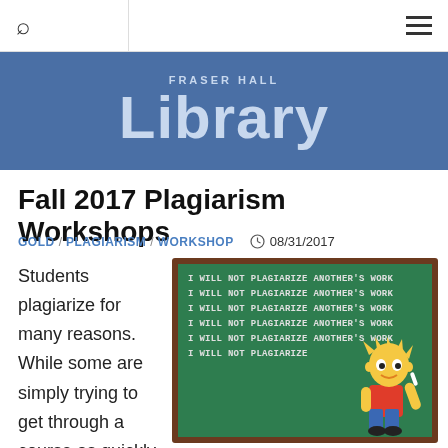Fraser Hall Library
Fall 2017 Plagiarism Workshops
GOLD / PLAGIARISM / WORKSHOP   08/31/2017
Students plagiarize for many reasons. While some are simply trying to get through a course as quickly as possible,
[Figure (illustration): Bart Simpson at a chalkboard writing 'I WILL NOT PLAGIARIZE ANOTHER'S WORK' multiple times, with the last line reading 'I WILL NOT PLAGIARIZE']